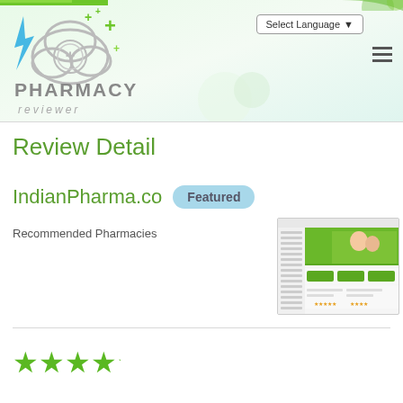[Figure (logo): Pharmacy Reviewer logo with cloud, green crosses, lightning bolt, and text PHARMACY reviewer]
[Figure (screenshot): Screenshot thumbnail of IndianPharma.co website showing a pharmacy webpage with green header and smiling couple image]
Review Detail
IndianPharma.co  Featured
Recommended Pharmacies
[Figure (other): Partial star/rating icons at bottom of page]